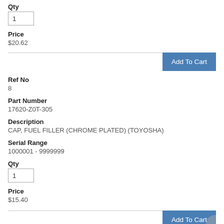Qty
1
Price
$20.62
Add To Cart
Ref No
8
Part Number
17620-Z0T-305
Description
CAP, FUEL FILLER (CHROME PLATED) (TOYOSHA)
Serial Range
1000001 - 9999999
Qty
1
Price
$15.40
Add To Cart